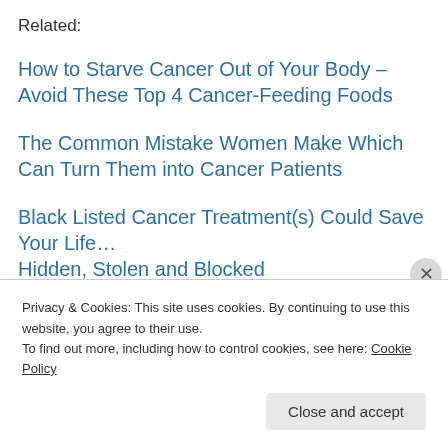Related:
How to Starve Cancer Out of Your Body – Avoid These Top 4 Cancer-Feeding Foods
The Common Mistake Women Make Which Can Turn Them into Cancer Patients
Black Listed Cancer Treatment(s) Could Save Your Life… Hidden, Stolen and Blocked
Privacy & Cookies: This site uses cookies. By continuing to use this website, you agree to their use. To find out more, including how to control cookies, see here: Cookie Policy
Close and accept